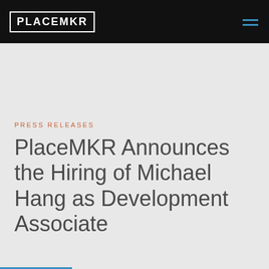PLACEMKR
PRESS RELEASES
PlaceMKR Announces the Hiring of Michael Hang as Development Associate